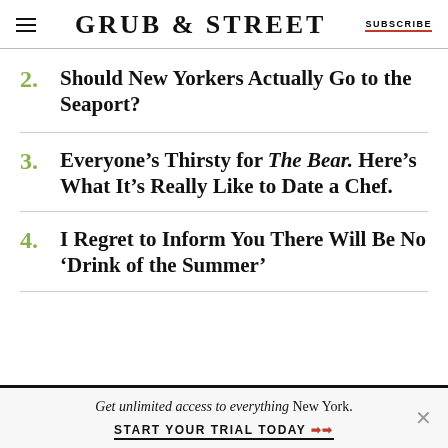GRUB STREET | SUBSCRIBE
2. Should New Yorkers Actually Go to the Seaport?
3. Everyone's Thirsty for The Bear. Here's What It's Really Like to Date a Chef.
4. I Regret to Inform You There Will Be No ‘Drink of the Summer’
Get unlimited access to everything New York. START YOUR TRIAL TODAY ➡️